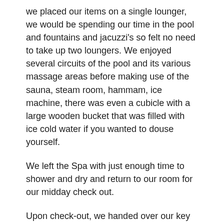we placed our items on a single lounger, we would be spending our time in the pool and fountains and jacuzzi's so felt no need to take up two loungers. We enjoyed several circuits of the pool and its various massage areas before making use of the sauna, steam room, hammam, ice machine, there was even a cubicle with a large wooden bucket that was filled with ice cold water if you wanted to douse yourself.
We left the Spa with just enough time to shower and dry and return to our room for our midday check out.
Upon check-out, we handed over our key and waited for any bill to be prepared.
We had already prepaid the room and also paid for our drinks as and when we had them but my husband was still convinced that a charge would be levied for the Spa.